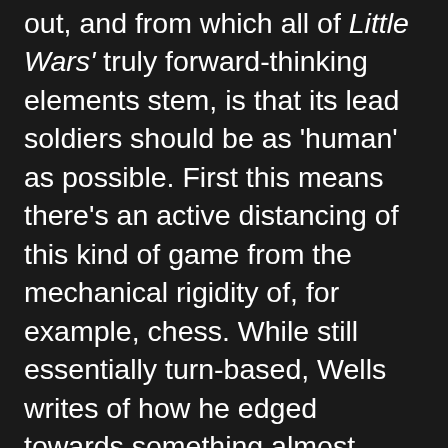out, and from which all of Little Wars' truly forward-thinking elements stem, is that its lead soldiers should be as 'human' as possible. First this means there's an active distancing of this kind of game from the mechanical rigidity of, for example, chess. While still essentially turn-based, Wells writes of how he edged towards something almost RTS-like by imposing strict time limits on each move to deliberately create messy situations: “men lagging and getting left... careless exposures... rapid, less accurate shooting, and just that eventfulness one would expect in the hurry and passion of real fighting.”
Rooted in that same humanizing effort was the decision to overturn an earlier mechanic